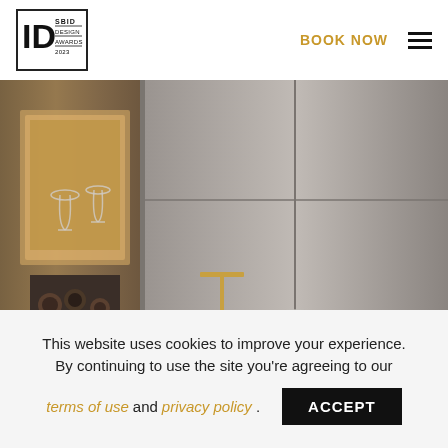SBID DESIGN AWARDS 2023 | BOOK NOW
[Figure (photo): Elegant restaurant interior showing a round table set with white linen, wine glasses, cutlery, a gold table lamp, and upholstered chairs. Background features wood paneling and metallic wall panels with a display niche holding glassware.]
This website uses cookies to improve your experience. By continuing to use the site you're agreeing to our terms of use and privacy policy.